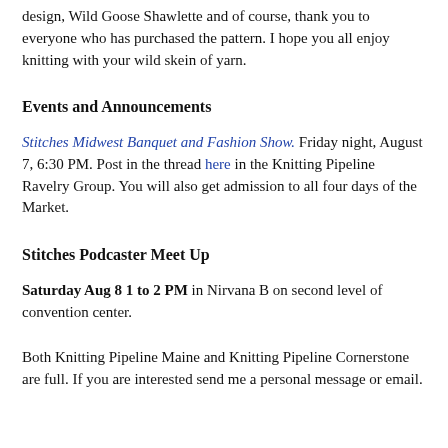design, Wild Goose Shawlette and of course, thank you to everyone who has purchased the pattern. I hope you all enjoy knitting with your wild skein of yarn.
Events and Announcements
Stitches Midwest Banquet and Fashion Show. Friday night, August 7, 6:30 PM. Post in the thread here in the Knitting Pipeline Ravelry Group. You will also get admission to all four days of the Market.
Stitches Podcaster Meet Up
Saturday Aug 8 1 to 2 PM in Nirvana B on second level of convention center.
Both Knitting Pipeline Maine and Knitting Pipeline Cornerstone are full. If you are interested send me a personal message or email.